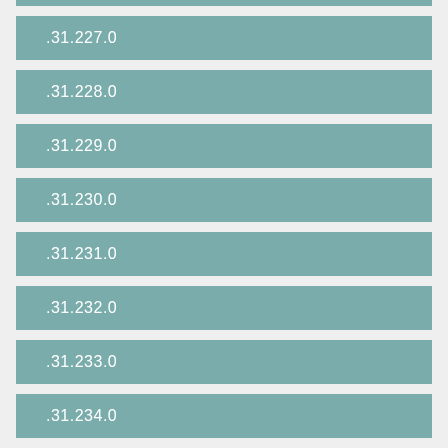.31.227.0
.31.228.0
.31.229.0
.31.230.0
.31.231.0
.31.232.0
.31.233.0
.31.234.0
.31.235.0